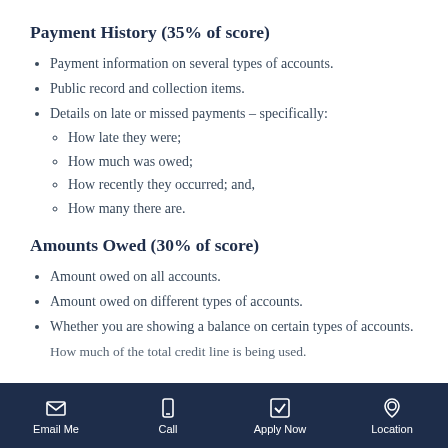Payment History (35% of score)
Payment information on several types of accounts.
Public record and collection items.
Details on late or missed payments – specifically:
How late they were;
How much was owed;
How recently they occurred; and,
How many there are.
Amounts Owed (30% of score)
Amount owed on all accounts.
Amount owed on different types of accounts.
Whether you are showing a balance on certain types of accounts.
How much of the total credit line is being used.
Email Me  Call  Apply Now  Location